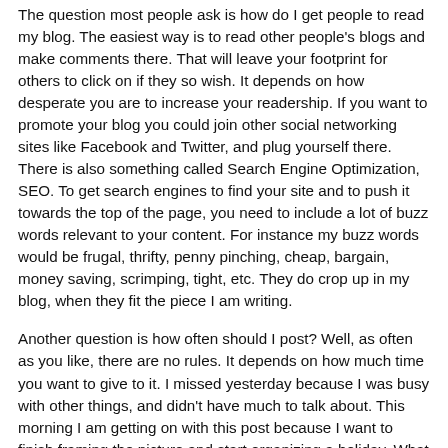The question most people ask is how do I get people to read my blog. The easiest way is to read other people's blogs and make comments there. That will leave your footprint for others to click on if they so wish. It depends on how desperate you are to increase your readership. If you want to promote your blog you could join other social networking sites like Facebook and Twitter, and plug yourself there. There is also something called Search Engine Optimization, SEO. To get search engines to find your site and to push it towards the top of the page, you need to include a lot of buzz words relevant to your content. For instance my buzz words would be frugal, thrifty, penny pinching, cheap, bargain, money saving, scrimping, tight, etc. They do crop up in my blog, when they fit the piece I am writing.
Another question is how often should I post? Well, as often as you like, there are no rules. It depends on how much time you want to give to it. I missed yesterday because I was busy with other things, and didn't have much to talk about. This morning I am getting on with this post because I want to finish framing the picture and start organizing a holiday. What I would say is, if you start blogging and then decide it isn't for you, don't just leave your site, let us. People will...